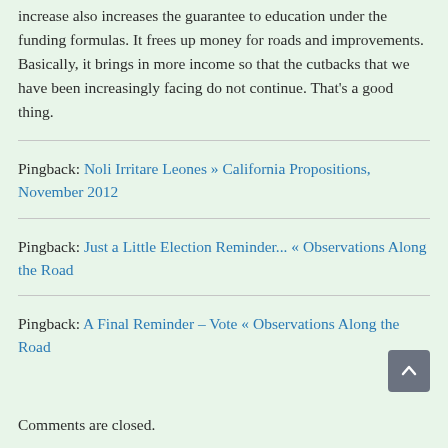increase also increases the guarantee to education under the funding formulas. It frees up money for roads and improvements. Basically, it brings in more income so that the cutbacks that we have been increasingly facing do not continue. That's a good thing.
Pingback: Noli Irritare Leones » California Propositions, November 2012
Pingback: Just a Little Election Reminder... « Observations Along the Road
Pingback: A Final Reminder – Vote « Observations Along the Road
Comments are closed.